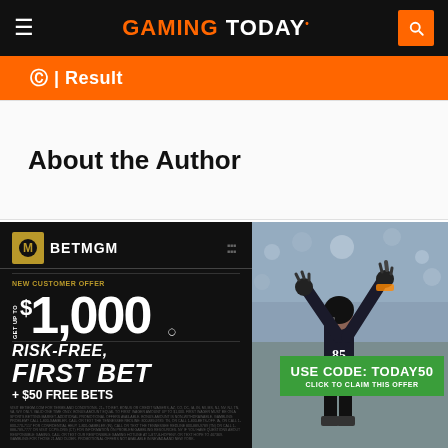GAMING TODAY
Result
About the Author
[Figure (infographic): BetMGM advertisement banner. Left dark side: BetMGM logo, 'NEW CUSTOMER OFFER', 'GET UP TO $1,000 RISK-FREE, FIRST BET + $50 FREE BETS'. Right side: football player celebrating with arms raised in stadium, green CTA box reading 'USE CODE: TODAY50' and 'CLICK TO CLAIM THIS OFFER'.]